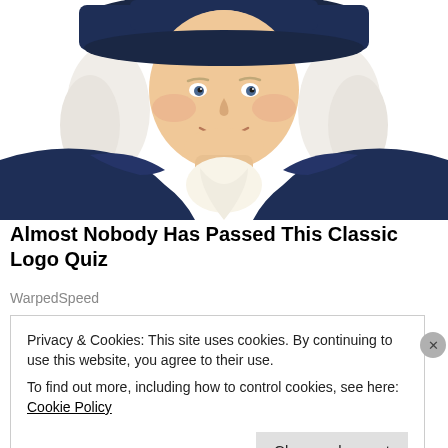[Figure (illustration): Illustration of the Quaker Oats man mascot — a smiling, rosy-cheeked man with white curly hair wearing a dark navy colonial-style coat and a large dark hat, with a white cravat at the neck. The image is cropped at mid-torso, showing from about chest-up, centered on a white background.]
Almost Nobody Has Passed This Classic Logo Quiz
WarpedSpeed
Privacy & Cookies: This site uses cookies. By continuing to use this website, you agree to their use.
To find out more, including how to control cookies, see here: Cookie Policy
Close and accept